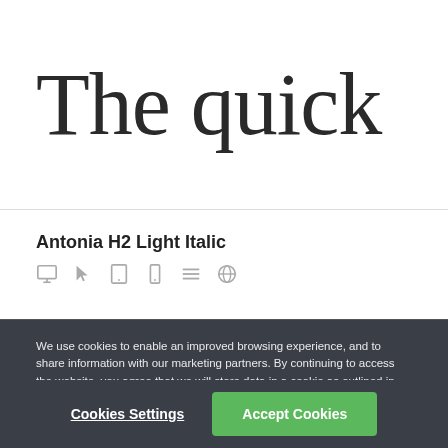The quick
Antonia H2 Light Italic
[Figure (illustration): Row of 5 small icons: monitor, cursor/click, tablet, mobile, menu/lines, globe]
We use cookies to enable an improved browsing experience, and to share information with our marketing partners. By continuing to access the website, you agree that we will store data in a cookie as outlined in our Privacy Policy.
Cookies Settings
Accept Cookies